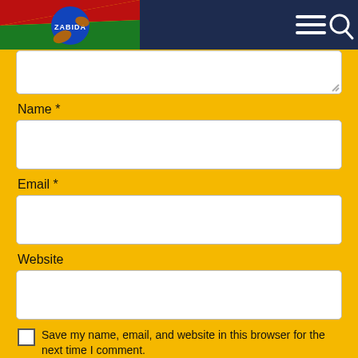[Figure (logo): ZABIDA logo on colorful flag background in navy navigation bar with hamburger menu and search icon]
Name *
Email *
Website
Save my name, email, and website in this browser for the next time I comment.
Please enter an answer in digits: